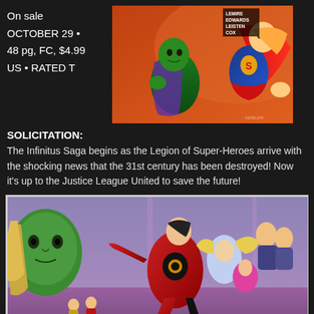On sale OCTOBER 29 • 48 pg, FC, $4.99 US • RATED T
[Figure (illustration): Comic book cover showing Martian Manhunter (green alien in purple costume) and Supergirl (in blue/red costume with cape) flying. Text on cover: LEMIRE EDWARDS LEISTEN COX]
SOLICITATION:
The Infinitus Saga begins as the Legion of Super-Heroes arrive with the shocking news that the 31st century has been destroyed! Now it's up to the Justice League United to save the future!
[Figure (illustration): Interior comic book art showing a large group of superheroes flying in action poses. A large green female face dominates the left side. Heroes in red, blue, and various costumes fly dynamically.]